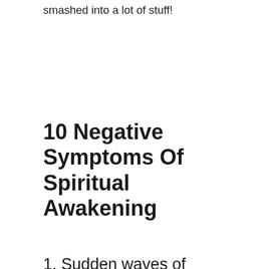smashed into a lot of stuff!
10 Negative Symptoms Of Spiritual Awakening
1. Sudden waves of emotion.
Crying at the drop of a hat. Feeling suddenly angry or sad with little provocation. Or inexplicably depressed. Then very happy.